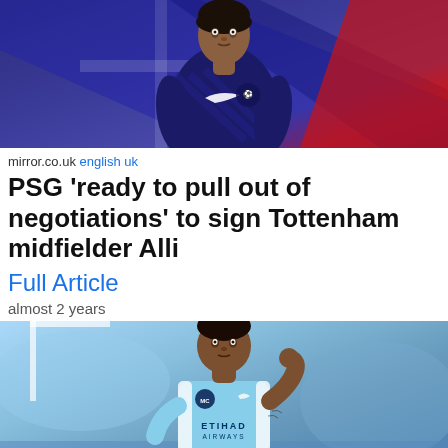[Figure (photo): Football player wearing a dark navy/purple Tottenham Hotspur Nike training kit, standing on a pitch with a blurred stadium background]
mirror.co.uk english uk
PSG 'ready to pull out of negotiations' to sign Tottenham midfielder Alli
Full Article
almost 2 years
[Figure (photo): Football player wearing a light blue Manchester City Puma kit with Etihad Airways sponsor, with hand raised to ear in celebration gesture]